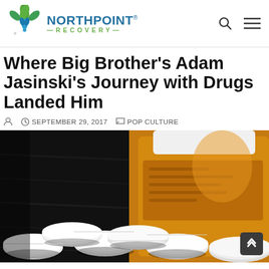[Figure (logo): Northpoint Recovery logo with green leaf/flower icon and blue text reading NORTHPOINT RECOVERY]
Where Big Brother’s Adam Jasinski’s Journey with Drugs Landed Him
SEPTEMBER 29, 2017   POP CULTURE
[Figure (photo): Close-up photo of white prescription pills/tablets scattered on a dark wooden surface next to an orange prescription pill bottle]